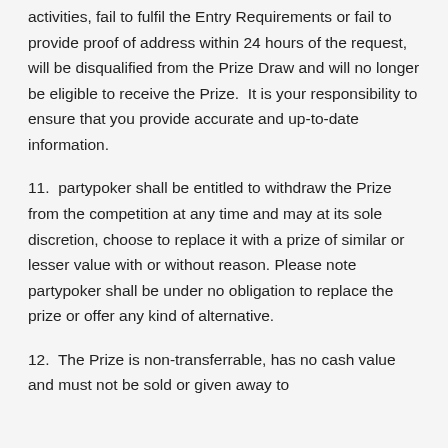activities, fail to fulfil the Entry Requirements or fail to provide proof of address within 24 hours of the request, will be disqualified from the Prize Draw and will no longer be eligible to receive the Prize.  It is your responsibility to ensure that you provide accurate and up-to-date information.
11.  partypoker shall be entitled to withdraw the Prize from the competition at any time and may at its sole discretion, choose to replace it with a prize of similar or lesser value with or without reason. Please note partypoker shall be under no obligation to replace the prize or offer any kind of alternative.
12.  The Prize is non-transferrable, has no cash value and must not be sold or given away to